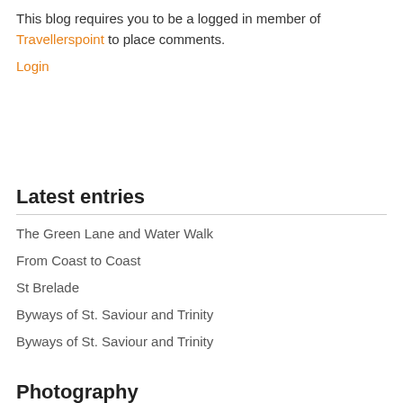This blog requires you to be a logged in member of Travellerspoint to place comments.
Login
Latest entries
The Green Lane and Water Walk
From Coast to Coast
St Brelade
Byways of St. Saviour and Trinity
Byways of St. Saviour and Trinity
Photography